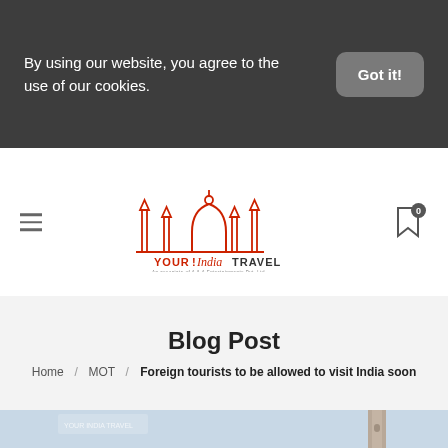By using our website, you agree to the use of our cookies.
Got it!
[Figure (logo): Your India Travel logo with red architectural skyline silhouette above the text YOUR INDIA TRAVEL]
Blog Post
Home / MOT / Foreign tourists to be allowed to visit India soon
[Figure (photo): Partial photograph showing a minaret or tower structure against a light blue sky background, with Your India Travel watermark in top left]